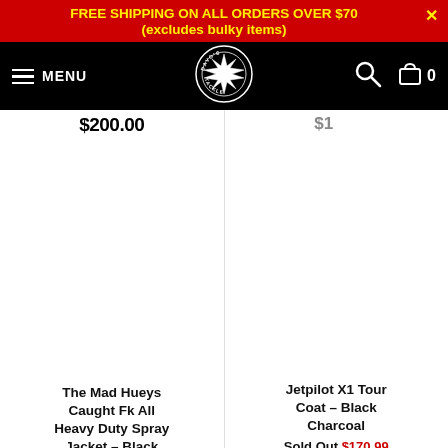FREE SHIPPING ON ALL ORDERS OVER $70 × (excludes bulky items)
[Figure (logo): Davo's Tackle logo with navigation: hamburger menu, MENU text, circular logo badge, search icon, cart icon with 0]
$200.00 (partially visible price, left product)
[Figure (photo): Product image area for The Mad Hueys Caught Fk All Heavy Duty Spray Jacket - Black (white/blank area)]
The Mad Hueys Caught Fk All Heavy Duty Spray Jacket - Black
[Figure (photo): Product image area for Jetpilot X1 Tour Coat - Black Charcoal (white/blank area)]
Jetpilot X1 Tour Coat - Black Charcoal
Sold Out $170.99